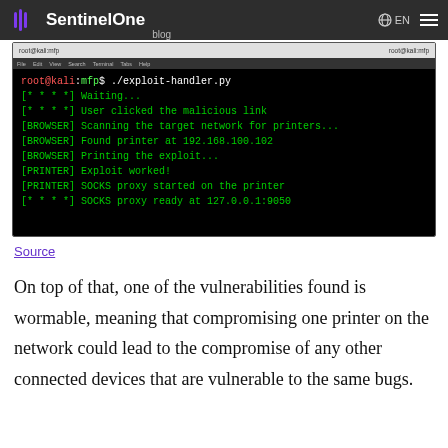SentinelOne blog EN
[Figure (screenshot): Terminal screenshot showing exploit-handler.py execution on Kali Linux. Output shows: root@kali:mfp$ ./exploit-handler.py, [* * * *] Waiting..., [* * * *] User clicked the malicious link, [BROWSER] Scanning the target network for printers..., [BROWSER] Found printer at 192.168.100.102, [BROWSER] Printing the exploit..., [PRINTER] Exploit worked!, [PRINTER] SOCKS proxy started on the printer, [* * * *] SOCKS proxy ready at 127.0.0.1:9050]
Source
On top of that, one of the vulnerabilities found is wormable, meaning that compromising one printer on the network could lead to the compromise of any other connected devices that are vulnerable to the same bugs.